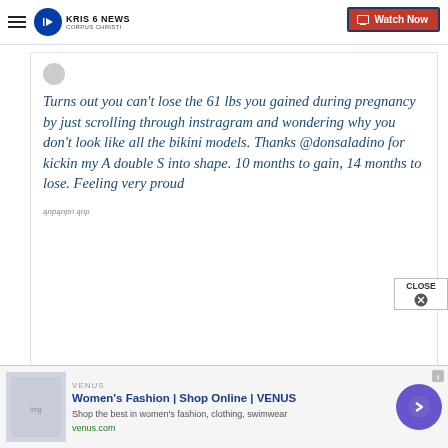KRIS 6 NEWS CORPUS CHRISTI | Watch Now
Turns out you can't lose the 61 lbs you gained during pregnancy by just scrolling through instragram and wondering why you don't look like all the bikini models. Thanks @donsaladino for kickin my A double S into shape. 10 months to gain, 14 months to lose. Feeling very proud
[Figure (screenshot): Advertisement banner for VENUS Women's Fashion Shop Online - shows clothing thumbnail, headline 'Women's Fashion | Shop Online | VENUS', subtext 'Shop the best in women's fashion, clothing, swimwear', url 'venus.com', and a purple circular arrow button]